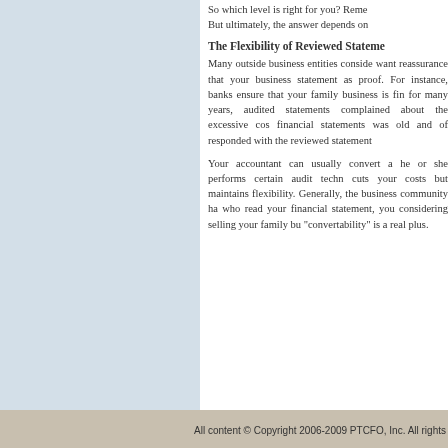So which level is right for you? Reme... But ultimately, the answer depends on...
The Flexibility of Reviewed Statements
Many outside business entities conside... want reassurance that your business... statement as proof. For instance, banks... ensure that your family business is fin... for many years, audited statements... complained about the excessive cos... financial statements was old and of... responded with the reviewed statement...
Your accountant can usually convert a... he or she performs certain audit techn... cuts your costs but maintains flexibility... Generally, the business community ha... who read your financial statement, you... considering selling your family bu... "convertability" is a real plus.
Home | Site Map | Co...
All content © Copyright 2006-2009 PTCFO, Inc. All rights